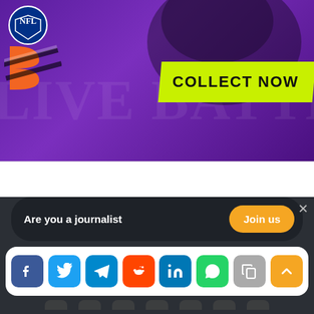[Figure (illustration): NFL and Cincinnati Bengals promotional ad banner with purple background, NFL shield logo, Bengals logo, and 'COLLECT NOW' badge in lime green]
[Figure (screenshot): Social share popup bar with icons for Facebook, Twitter, Telegram, Reddit, LinkedIn, WhatsApp, Copy, and scroll-to-top]
Are you a journalist
Join us
Cointelegraph.com uses Cookies to ensure the best experience for you.
ACCEPT